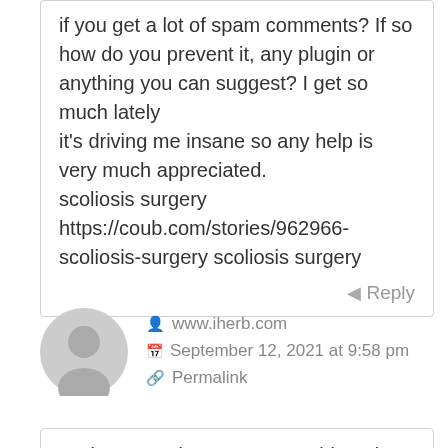if you get a lot of spam comments? If so how do you prevent it, any plugin or anything you can suggest? I get so much lately it's driving me insane so any help is very much appreciated.
scoliosis surgery https://coub.com/stories/962966-scoliosis-surgery scoliosis surgery
Reply
www.iherb.com
September 12, 2021 at 9:58 pm
Permalink
I'm impressed, I must say. Seldom do I encounter a blog that's both equally educative and interesting, and without a doubt, you've hit the nail on the head. The issue is something that